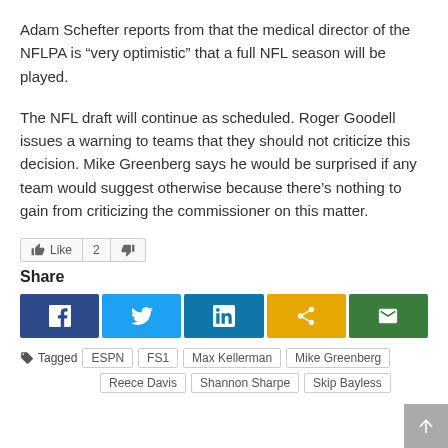Adam Schefter reports from that the medical director of the NFLPA is “very optimistic” that a full NFL season will be played.
The NFL draft will continue as scheduled. Roger Goodell issues a warning to teams that they should not criticize this decision. Mike Greenberg says he would be surprised if any team would suggest otherwise because there’s nothing to gain from criticizing the commissioner on this matter.
Like 2 [dislike]
Share
Tagged ESPN FS1 Max Kellerman Mike Greenberg Reece Davis Shannon Sharpe Skip Bayless